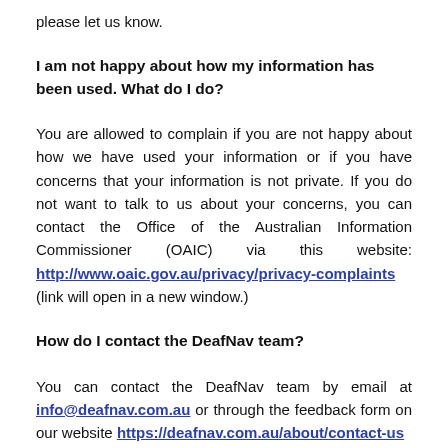please let us know.
I am not happy about how my information has been used. What do I do?
You are allowed to complain if you are not happy about how we have used your information or if you have concerns that your information is not private. If you do not want to talk to us about your concerns, you can contact the Office of the Australian Information Commissioner (OAIC) via this website: http://www.oaic.gov.au/privacy/privacy-complaints (link will open in a new window.)
How do I contact the DeafNav team?
You can contact the DeafNav team by email at info@deafnav.com.au or through the feedback form on our website https://deafnav.com.au/about/contact-us
Changes to this policy